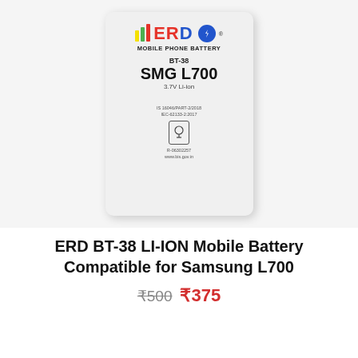[Figure (photo): ERD BT-38 mobile phone battery for Samsung SMG L700, white rectangular battery with ERD logo (yellow/green/red stripes, red ERD text, blue circle with lightning bolt), text showing BT-38, SMG L700, 3.7V Li-ion, certification marks IS 16046/PART-2/2018, IEC-62133-2:2017, and R-06302257, www.bis.gov.in]
ERD BT-38 LI-ION Mobile Battery Compatible for Samsung L700
₹500 ₹375